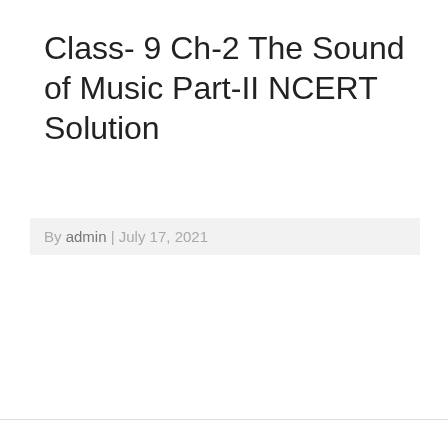Class- 9 Ch-2 The Sound of Music Part-II NCERT Solution
By admin | July 17, 2021